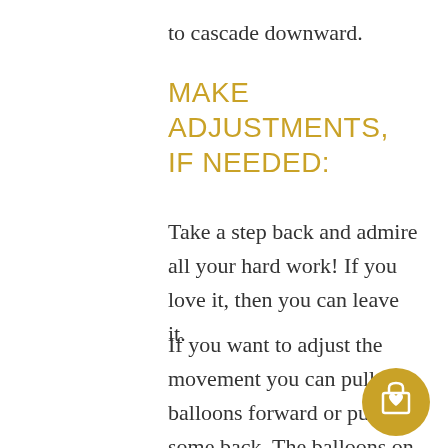to cascade downward.
MAKE ADJUSTMENTS, IF NEEDED:
Take a step back and admire all your hard work! If you love it, then you can leave it.
If you want to adjust the movement you can pull balloons forward or push some back. The balloons on the garland are pretty flexible. For example, if a gold balloon is hiding in the back you can swing it to the front